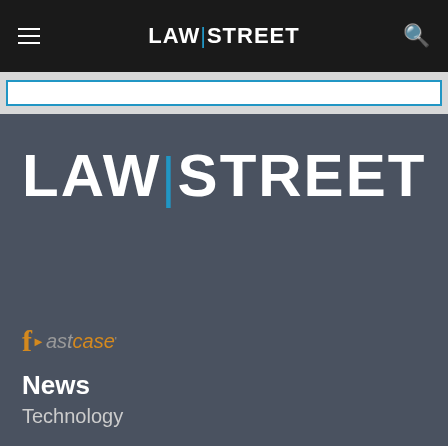LAW|STREET
[Figure (logo): Law Street logo in navigation bar with hamburger menu and search icon]
[Figure (logo): Large Law Street logo on dark background]
[Figure (logo): Fastcase logo with orange arrow and stylized text]
News
Technology